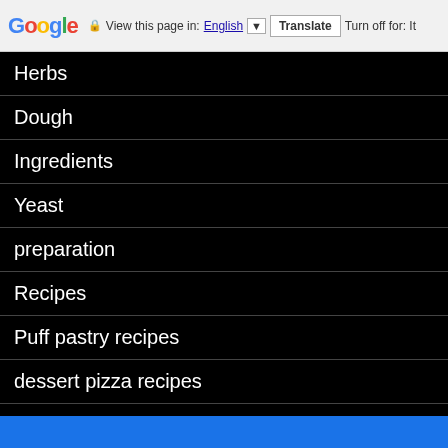Google — View this page in: English [▼] Translate Turn off for: It...
Herbs
Dough
Ingredients
Yeast
preparation
Recipes
Puff pastry recipes
dessert pizza recipes
Uncategorized
Street Food